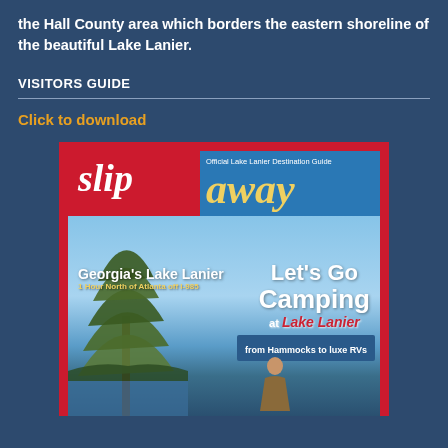the Hall County area which borders the eastern shoreline of the beautiful Lake Lanier.
VISITORS GUIDE
Click to download
[Figure (photo): Cover of 'Slip Away' magazine - Official Lake Lanier Destination Guide, featuring a camping-themed cover with a pine tree, lake scenery, and text reading 'Georgia's Lake Lanier, 1 Hour North of Atlanta off I-985', 'Let's Go Camping at Lake Lanier', and 'from Hammocks to luxe RVs']